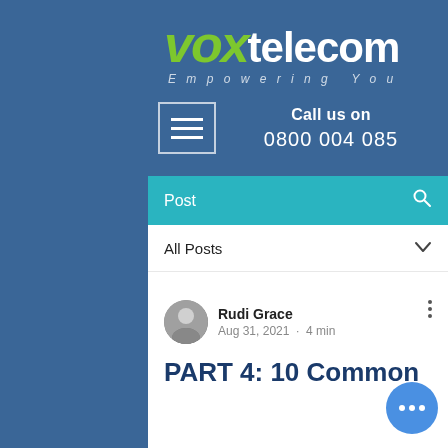[Figure (logo): VOX telecom logo — 'VOX' in green italic bold, 'telecom' in white bold, tagline 'Empowering You' in light italic below]
Call us on
0800 004 085
Post
All Posts
Rudi Grace
Aug 31, 2021 · 4 min
PART 4: 10 Common